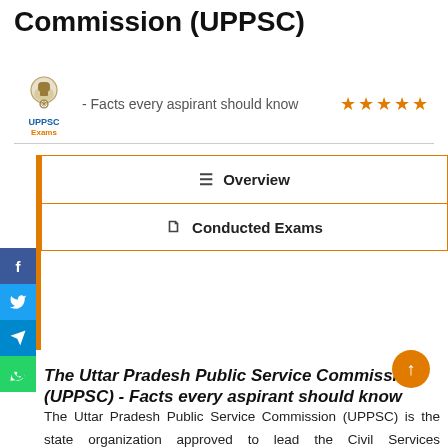Commission (UPPSC)
[Figure (logo): UPPSC emblem/logo with Indian government seal, text 'UPPSC Exams']
- Facts every aspirant should know
[Figure (infographic): Five orange star rating icons]
≔ Overview
🗋 Conducted Exams
The Uttar Pradesh Public Service Commission (UPPSC) - Facts every aspirant should know
The Uttar Pradesh Public Service Commission (UPPSC) is the state organization approved to lead the Civil Services Examination for passage level arrangements to the different Civil Services of Uttar Pradesh. The office's contract is allowed by the Constitution of India. Articles 315 to 323 of Part XIV of the constitution, named